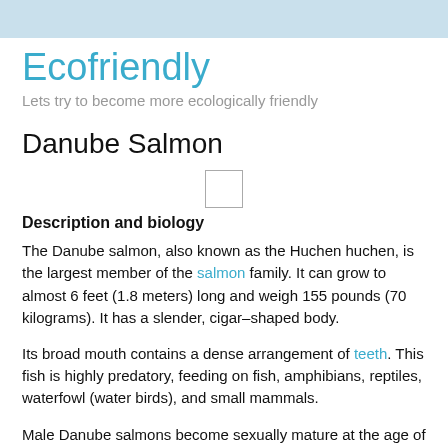Ecofriendly
Lets try to become more ecologically friendly
Danube Salmon
[Figure (other): Small placeholder image checkbox/icon]
Description and biology
The Danube salmon, also known as the Huchen huchen, is the largest member of the salmon family. It can grow to almost 6 feet (1.8 meters) long and weigh 155 pounds (70 kilograms). It has a slender, cigar–shaped body.
Its broad mouth contains a dense arrangement of teeth. This fish is highly predatory, feeding on fish, amphibians, reptiles, waterfowl (water birds), and small mammals.
Male Danube salmons become sexually mature at the age of